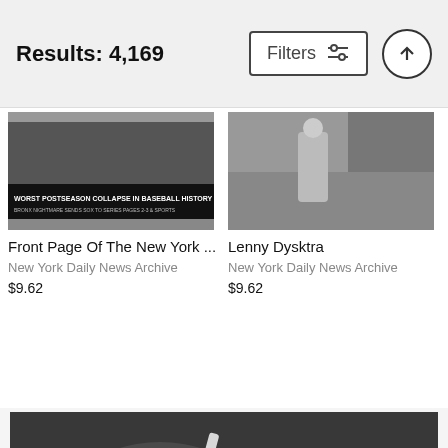Results: 4,169
[Figure (screenshot): Filters button with sliders icon and up-arrow circle button in header bar]
[Figure (photo): Newspaper front page showing 'WORST POSTSEASON COLLAPSE IN BASEBALL HISTORY' headline - New York Daily News archive photo thumbnail]
Front Page Of The New York ...
New York Daily News Archive
$9.62
[Figure (photo): Lenny Dykstra baseball photo thumbnail - black and white - New York Daily News Archive]
Lenny Dysktra
New York Daily News Archive
$9.62
[Figure (photo): Black and white vintage photograph of a New York Yankees baseball player mid-swing with a bat, wearing NY uniform, stadium crowd visible in background]